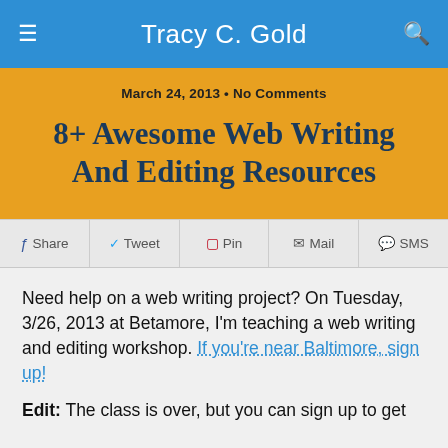Tracy C. Gold
March 24, 2013 • No Comments
8+ Awesome Web Writing And Editing Resources
Share  Tweet  Pin  Mail  SMS
Need help on a web writing project? On Tuesday, 3/26, 2013 at Betamore, I'm teaching a web writing and editing workshop. If you're near Baltimore, sign up!
Edit: The class is over, but you can sign up to get